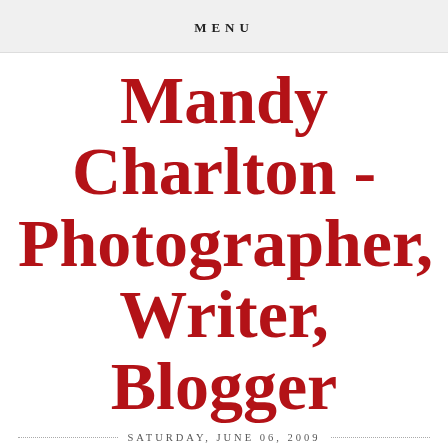MENU
Mandy Charlton - Photographer, Writer, Blogger
SATURDAY, JUNE 06, 2009
Take That present The Circus at the Stadium of Light
Yesterday there was much excitement in the Charlton household as we were going to have what would turn out to be one of the best nights of our entire lives at the Take That concert at the Stadium of